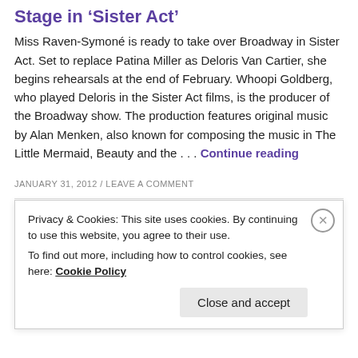Stage in 'Sister Act'
Miss Raven-Symoné is ready to take over Broadway in Sister Act. Set to replace Patina Miller as Deloris Van Cartier, she begins rehearsals at the end of February. Whoopi Goldberg, who played Deloris in the Sister Act films, is the producer of the Broadway show. The production features original music by Alan Menken, also known for composing the music in The Little Mermaid, Beauty and the . . . Continue reading
JANUARY 31, 2012 / LEAVE A COMMENT
BLOG BROADWAY CELEBRITIES MUSIC
Privacy & Cookies: This site uses cookies. By continuing to use this website, you agree to their use. To find out more, including how to control cookies, see here: Cookie Policy Close and accept